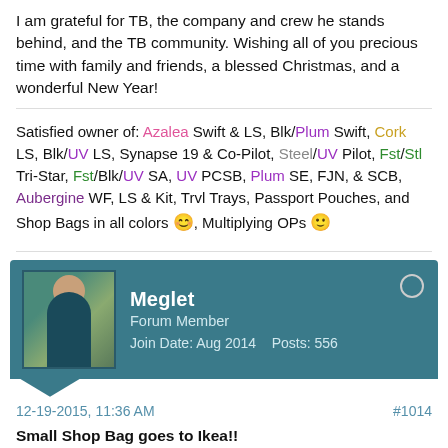I am grateful for TB, the company and crew he stands behind, and the TB community. Wishing all of you precious time with family and friends, a blessed Christmas, and a wonderful New Year!
Satisfied owner of: Azalea Swift & LS, Blk/Plum Swift, Cork LS, Blk/UV LS, Synapse 19 & Co-Pilot, Steel/UV Pilot, Fst/Stl Tri-Star, Fst/Blk/UV SA, UV PCSB, Plum SE, FJN, & SCB, Aubergine WF, LS & Kit, Trvl Trays, Passport Pouches, and Shop Bags in all colors, Multiplying OPs
Meglet
Forum Member
Join Date: Aug 2014    Posts: 556
12-19-2015, 11:36 AM
#1014
Small Shop Bag goes to Ikea!!
Yesterday I made a "quick" Ikea trip to pick up some bookshelves and hangers. Since I needed "just one thing" from the Marketplace area, I didn't bother to pick up a cart